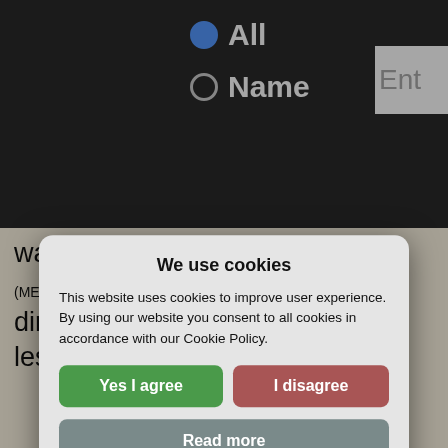[Figure (screenshot): Dark header with radio buttons labeled 'All' (selected, blue filled circle) and 'Name' (unselected, empty circle), and a partial text input box on the right showing 'Ent']
was at its peak 118 years ago (MEDIAN diminished since (#1595, DOWN 86%), wit less in vogue.
[Figure (screenshot): Partial 'Show more comparisons' dropdown button and a line chart partially visible with y-axis labels 1, 200, 400 and colored dots]
We use cookies
This website uses cookies to improve user experience. By using our website you consent to all cookies in accordance with our Cookie Policy.
Yes I agree
I disagree
Read more
Free cookie consent by cookie-script.com